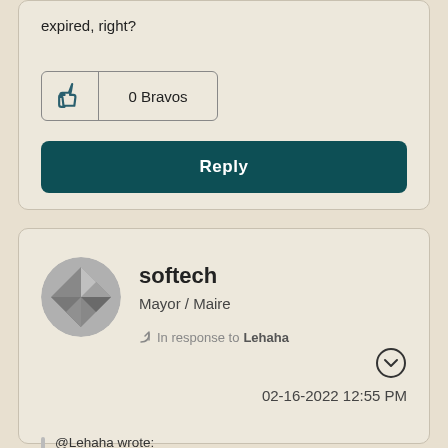expired, right?
0 Bravos
Reply
softech
Mayor / Maire
In response to Lehaha
02-16-2022 12:55 PM
@Lehaha wrote:
So, if I didn't “buy” the $15 rewards this month, it’s